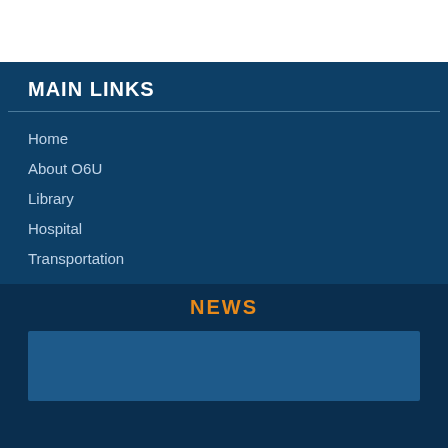MAIN LINKS
Home
About O6U
Library
Hospital
Transportation
NEWS